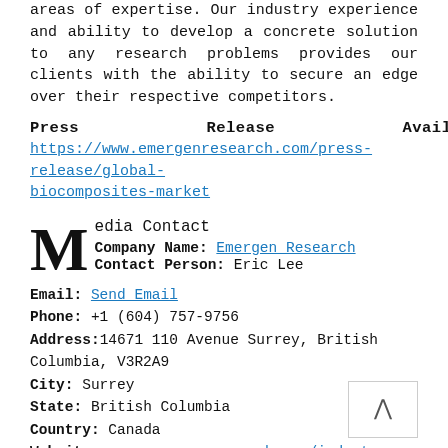areas of expertise. Our industry experience and ability to develop a concrete solution to any research problems provides our clients with the ability to secure an edge over their respective competitors.
Press Release Available @ https://www.emergenresearch.com/press-release/global-biocomposites-market
Media Contact
Company Name: Emergen Research
Contact Person: Eric Lee
Email: Send Email
Phone: +1 (604) 757-9756
Address: 14671 110 Avenue Surrey, British Columbia, V3R2A9
City: Surrey
State: British Columbia
Country: Canada
Website: www.emergenresearch.com/industry-